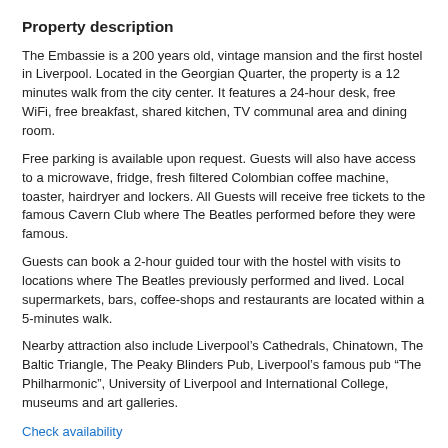Property description
The Embassie is a 200 years old, vintage mansion and the first hostel in Liverpool. Located in the Georgian Quarter, the property is a 12 minutes walk from the city center. It features a 24-hour desk, free WiFi, free breakfast, shared kitchen, TV communal area and dining room.
Free parking is available upon request. Guests will also have access to a microwave, fridge, fresh filtered Colombian coffee machine, toaster, hairdryer and lockers. All Guests will receive free tickets to the famous Cavern Club where The Beatles performed before they were famous.
Guests can book a 2-hour guided tour with the hostel with visits to locations where The Beatles previously performed and lived. Local supermarkets, bars, coffee-shops and restaurants are located within a 5-minutes walk.
Nearby attraction also include Liverpool’s Cathedrals, Chinatown, The Baltic Triangle, The Peaky Blinders Pub, Liverpool’s famous pub “The Philharmonic”, University of Liverpool and International College, museums and art galleries.
Check availability